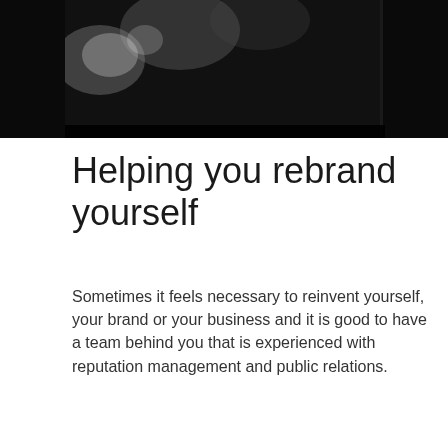[Figure (photo): Black and white photograph, appears to show a person, mostly dark/shadowed, visible at the top of the page]
Helping you rebrand yourself
Sometimes it feels necessary to reinvent yourself, your brand or your business and it is good to have a team behind you that is experienced with reputation management and public relations.
Our business was launched in the heart of London in 1992, as a talent management agency by our founder, Keith Bishop.
He set out to provide a bespoke service for high profile people that found themselves in high pressure situations and who wanted advice and assistance with their careers and reputation. Keith helped reshape